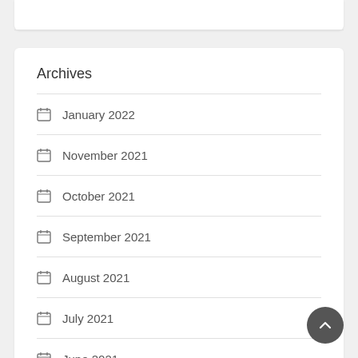Archives
January 2022
November 2021
October 2021
September 2021
August 2021
July 2021
June 2021
May 2021